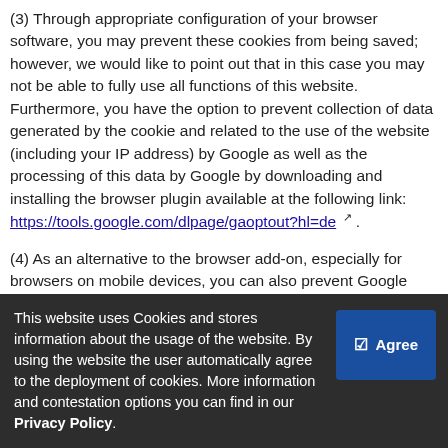(3) Through appropriate configuration of your browser software, you may prevent these cookies from being saved; however, we would like to point out that in this case you may not be able to fully use all functions of this website. Furthermore, you have the option to prevent collection of data generated by the cookie and related to the use of the website (including your IP address) by Google as well as the processing of this data by Google by downloading and installing the browser plugin available at the following link: https://tools.google.com/dlpage/gaoptout?hl=de .
(4) As an alternative to the browser add-on, especially for browsers on mobile devices, you can also prevent Google Analytics from collecting data by clicking on this link. An opt-out cookie is set to prevent future collection of your data when you visit this website. The opt-out cookie is only applicable to this browser and only for our website and is [obscured by banner]
This website uses Cookies and stores information about the usage of the website. By using the website the user automatically agree to the deployment of cookies. More information and contestation options you can find in our Privacy Policy.